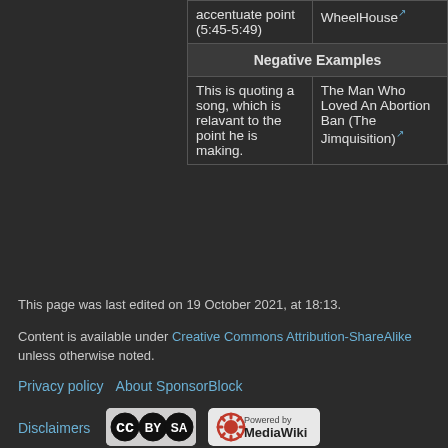| Description | Video |
| --- | --- |
| accentuate point (5:45-5:49) | WheelHouse [ext] |
| Negative Examples |  |
| This is quoting a song, which is relavant to the point he is making. | The Man Who Loved An Abortion Ban (The Jimquisition) [ext] |
This page was last edited on 19 October 2021, at 18:13.
Content is available under Creative Commons Attribution-ShareAlike unless otherwise noted.
Privacy policy   About SponsorBlock
Disclaimers